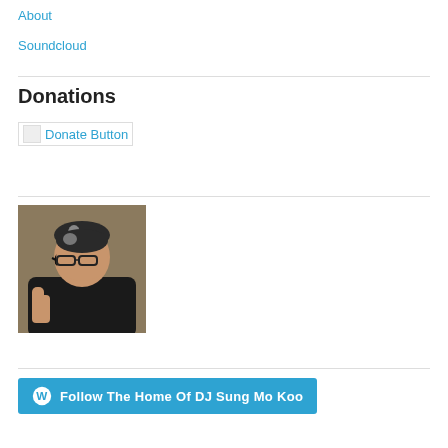About
Soundcloud
Donations
[Figure (other): Donate Button image link placeholder]
[Figure (photo): Photo of a man wearing glasses giving a thumbs up, against a tan/olive background]
Follow The Home Of DJ Sung Mo Koo